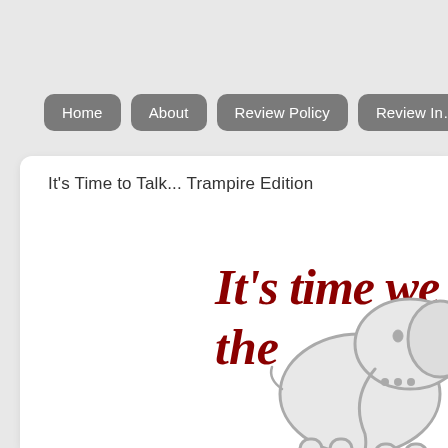Home | About | Review Policy | Review In...
It's Time to Talk... Trampire Edition
[Figure (illustration): Partial illustration showing a cartoon elephant and large dark red italic handwritten-style text reading 'It's time we talk about the...' with the elephant overlapping the text, page cropped on the right side]